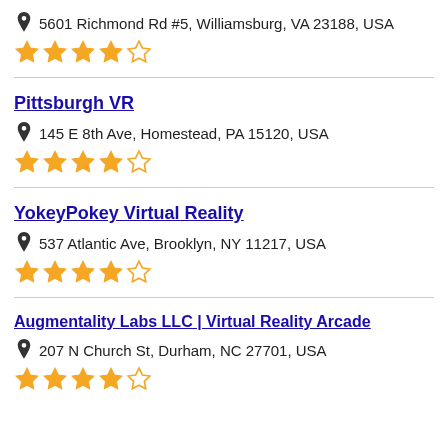5601 Richmond Rd #5, Williamsburg, VA 23188, USA
[Figure (other): 4 out of 5 stars rating (4 filled, 1 empty)]
Pittsburgh VR
145 E 8th Ave, Homestead, PA 15120, USA
[Figure (other): 4 out of 5 stars rating (4 filled, 1 empty)]
YokeyPokey Virtual Reality
537 Atlantic Ave, Brooklyn, NY 11217, USA
[Figure (other): 4 out of 5 stars rating (4 filled, 1 empty)]
Augmentality Labs LLC | Virtual Reality Arcade
207 N Church St, Durham, NC 27701, USA
[Figure (other): 4 out of 5 stars rating (4 filled, 1 empty)]